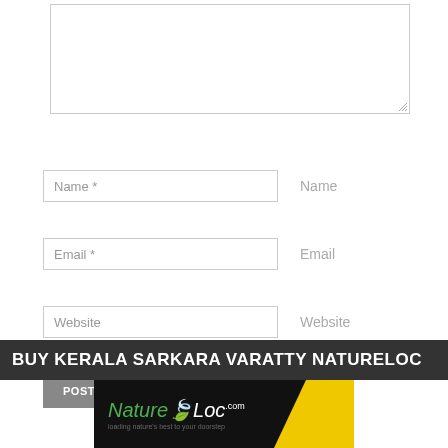[Figure (screenshot): Comment form text area (empty, resizable)]
Name *
Name
Email *
Email
Website
Website
POST COMMENT
BUY KERALA SARKARA VARATTY NATURELOC
[Figure (logo): NatureLoc logo on black and yellow background]